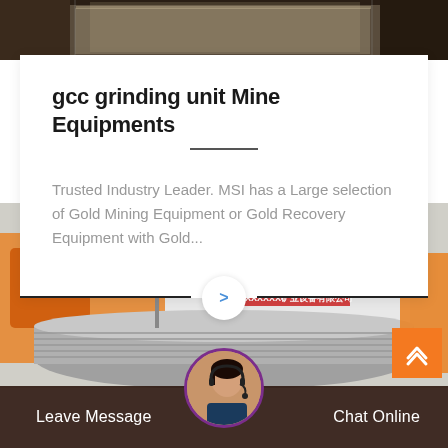[Figure (photo): Top strip showing industrial/warehouse interior scene, dark tones]
gcc grinding unit Mine Equipments
Trusted Industry Leader. MSI has a Large selection of Gold Mining Equipment or Gold Recovery Equipment with Gold...
[Figure (photo): Industrial facility with orange mining machinery, large cylindrical equipment, white warehouse building with Chinese text signage]
Leave Message
Chat Online